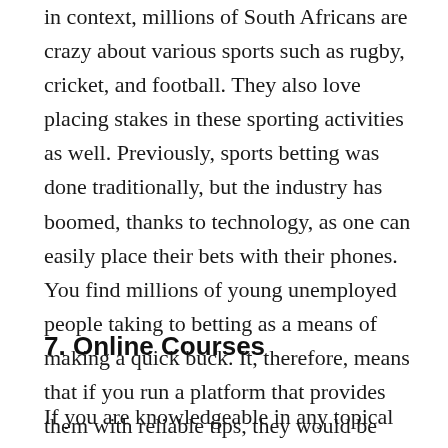in context, millions of South Africans are crazy about various sports such as rugby, cricket, and football. They also love placing stakes in these sporting activities as well. Previously, sports betting was done traditionally, but the industry has boomed, thanks to technology, as one can easily place their bets with their phones. You find millions of young unemployed people taking to betting as a means of making a quick buck. It, therefore, means that if you run a platform that provides them with reliable tips, they would be willing to pay you for your service.
7. Online Courses
If you are knowledgeable in any topical area, you can